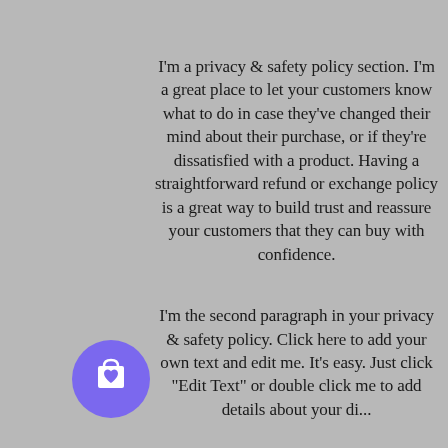I'm a privacy & safety policy section. I'm a great place to let your customers know what to do in case they've changed their mind about their purchase, or if they're dissatisfied with a product. Having a straightforward refund or exchange policy is a great way to build trust and reassure your customers that they can buy with confidence.

I'm the second paragraph in your privacy & safety policy. Click here to add your own text and edit me. It's easy. Just click "Edit Text" or double click me to add details about your di...
[Figure (illustration): A purple circular floating action button with a shopping bag icon containing a heart symbol]